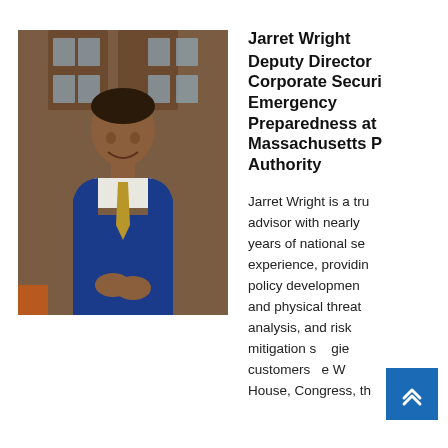[Figure (photo): Professional headshot of Jarret Wright, a man in a blue suit with a gold tie, smiling, standing in front of a wooden door with windows.]
Jarret Wright
Deputy Director Corporate Security Emergency Preparedness at Massachusetts Port Authority
Jarret Wright is a trusted advisor with nearly years of national security experience, providing policy development and physical threat analysis, and risk mitigation strategies customers the White House, Congress, th...